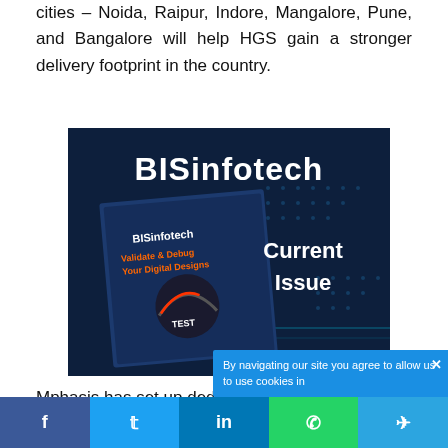mphasis 5 seven delivery centres across six cities – Noida, Raipur, Indore, Mangalore, Pune, and Bangalore will help HGS gain a stronger delivery footprint in the country.
[Figure (illustration): BISinfotech magazine advertisement showing the BISinfotech logo in bold white text on a dark blue background, with a magazine cover featuring 'Validate & Debug Your Digital Designs' and the text 'Current Issue' in large white letters.]
Mphasis has set up dedicated unit
By navigating our site you agree to allow us to use cookies in...
f  t  in  (whatsapp icon)  (telegram icon)